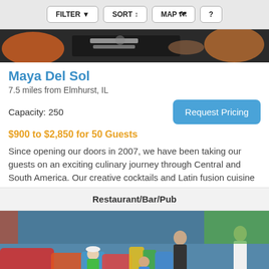FILTER  SORT  MAP  ?
[Figure (photo): Interior of restaurant showing orange chairs, dark table, glassware and rolled blueprints]
Maya Del Sol
7.5 miles from Elmhurst, IL
Capacity: 250
Request Pricing
$900 to $2,850 for 50 Guests
Since opening our doors in 2007, we have been taking our guests on an exciting culinary journey through Central and South America. Our creative cocktails and Latin fusion cuisine
Restaurant/Bar/Pub
[Figure (photo): Children playing on colorful foam mats and toys in a play area, adults assisting them]